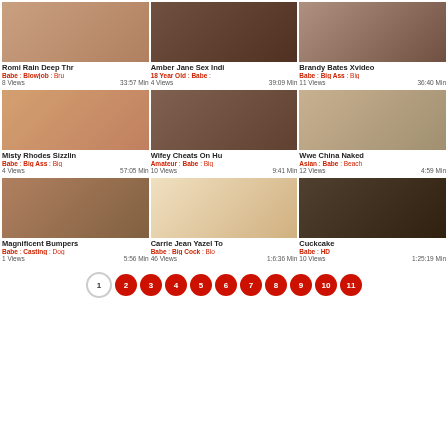[Figure (other): Video thumbnail grid with 9 video cards in 3 columns, each with a thumbnail image, title, tags, view count and duration]
Romi Rain Deep Thr... | Babe : Blowjob : Bru... | 8 Views | 33:57 Min
Amber Jane Sex Ind... | 18 Year Old : Babe : ... | 4 Views | 39:09 Min
Brandy Bates Xvideo... | Babe : Big Ass : Big ... | 11 Views | 36:40 Min
Misty Rhodes Sizzlin... | Babe : Big Ass : Big ... | 4 Views | 57:05 Min
Wifey Cheats On Hu... | Amateur : Babe : Big... | 10 Views | 9:41 Min
Wwe China Naked... | Asian : Babe : Beach... | 12 Views | 4:59 Min
Magnificent Bumpers... | Babe : Casting : Dog... | 1 Views | 5:56 Min
Carrie Jean Yazel To... | Babe : Big Cock : Blo... | 46 Views | 1:6:36 Min
Cuckcake | Babe : HD | 10 Views | 1:25:19 Min
Pagination: 1 2 3 4 5 6 7 8 9 10 11